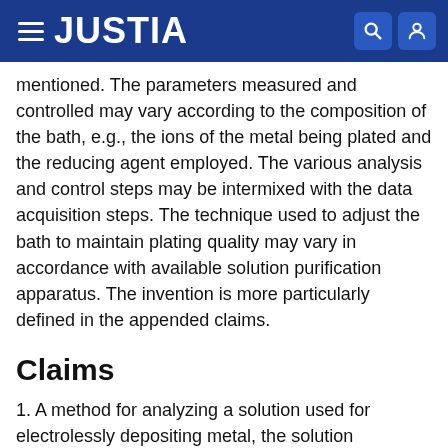JUSTIA
mentioned. The parameters measured and controlled may vary according to the composition of the bath, e.g., the ions of the metal being plated and the reducing agent employed. The various analysis and control steps may be intermixed with the data acquisition steps. The technique used to adjust the bath to maintain plating quality may vary in accordance with available solution purification apparatus. The invention is more particularly defined in the appended claims.
Claims
1. A method for analyzing a solution used for electrolessly depositing metal, the solution comprising metallic ions and a reducing agent for said metallic ions, said method comprising:
(a) providing at least two electrodes in the plating